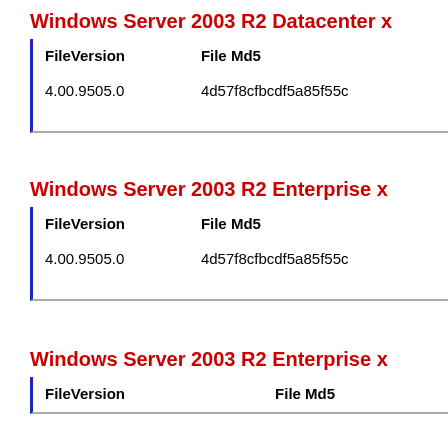Windows Server 2003 R2 Datacenter x
| FileVersion | File Md5 |
| --- | --- |
| 4.00.9505.0 | 4d57f8cfbcdf5a85f55c |
Windows Server 2003 R2 Enterprise x
| FileVersion | File Md5 |
| --- | --- |
| 4.00.9505.0 | 4d57f8cfbcdf5a85f55c |
Windows Server 2003 R2 Enterprise x
| FileVersion | File Md5 |
| --- | --- |